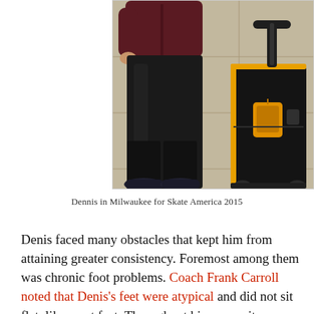[Figure (photo): A person standing on a sidewalk next to a black rolling suitcase with an orange/yellow trim and tag. The person is wearing black pants, dark sneakers, and a dark red/maroon jacket. The suitcase has an extended handle and yellow luggage tag.]
Dennis in Milwaukee for Skate America 2015
Denis faced many obstacles that kept him from attaining greater consistency. Foremost among them was chronic foot problems. Coach Frank Carroll noted that Denis's feet were atypical and did not sit flat, like most feet. Throughout his career, it was an ongoing